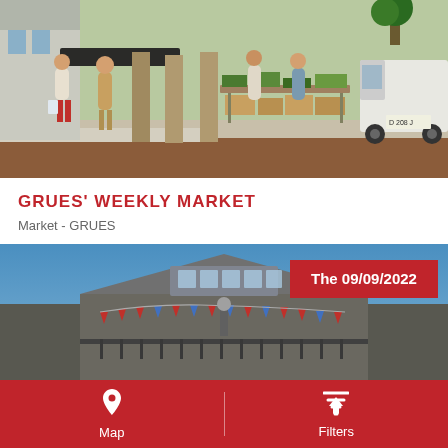[Figure (photo): Outdoor market scene in a town square with vendors selling produce, shoppers browsing stalls, stone pillars, and a white delivery van. Summer day, sunny.]
GRUES' WEEKLY MARKET
Market - GRUES
[Figure (photo): Exterior of a market hall building with blue sky background, bunting decorations, ornate ironwork facade. Date badge reads: The 09/09/2022]
Map   Filters